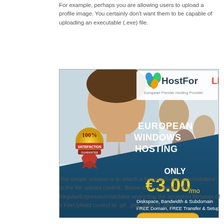For example, perhaps you are allowing users to upload a profile image. You certainly don't want them to be capable of uploading an executable (.exe) file.
[Figure (photo): HostForLIFE advertisement banner showing European Windows Hosting for €3.00/mo with 100% satisfaction guarantee, diskspace, bandwidth & subdomain, free domain, free transfer & setup, and a Sign Up Now button.]
The simple solution is to attach a RegularExpressionValidator to the file upload control.  Below is an example of a RegularExpressionValidator restricting the accepted filetypes of a FileUpload control to .gif, .jpg, .jpeg or .png